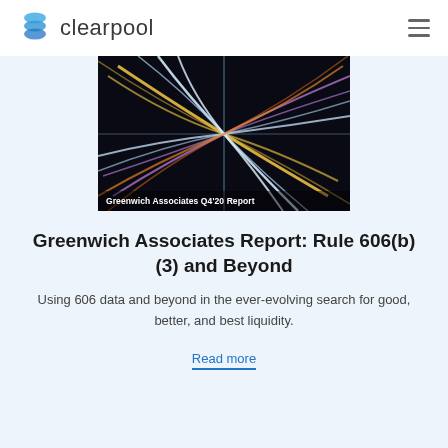clearpool
[Figure (photo): Aerial night-time photo of complex highway interchange with light trails, overlaid with text 'Greenwich Associates Q4'20 Report']
Greenwich Associates Report: Rule 606(b)(3) and Beyond
Using 606 data and beyond in the ever-evolving search for good, better, and best liquidity.
Read more